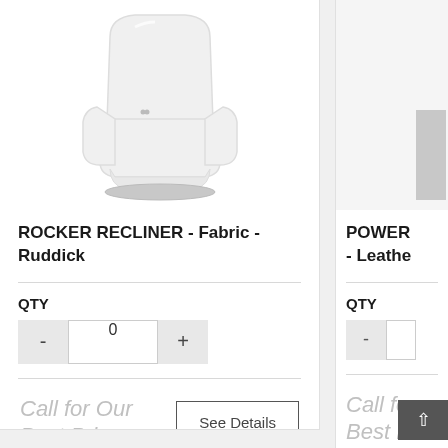[Figure (photo): White leather rocker recliner chair product photo on white background]
ROCKER RECLINER - Fabric - Ruddick
QTY
Call for Our Best Price
See Details
[Figure (photo): Partially visible second product (POWER - Leather) with grey element]
POWER - Leathe
QTY
Call fo Best P